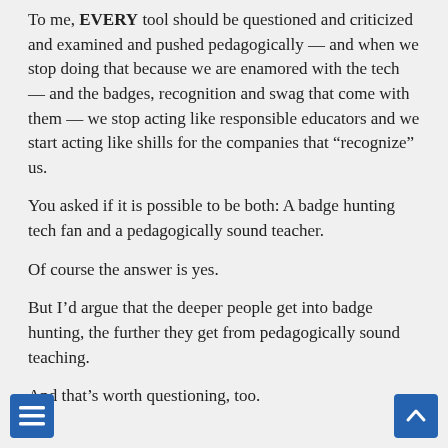To me, EVERY tool should be questioned and criticized and examined and pushed pedagogically — and when we stop doing that because we are enamored with the tech — and the badges, recognition and swag that come with them — we stop acting like responsible educators and we start acting like shills for the companies that “recognize” us.
You asked if it is possible to be both: A badge hunting tech fan and a pedagogically sound teacher.
Of course the answer is yes.
But I’d argue that the deeper people get into badge hunting, the further they get from pedagogically sound teaching.
And that’s worth questioning, too.
Bill